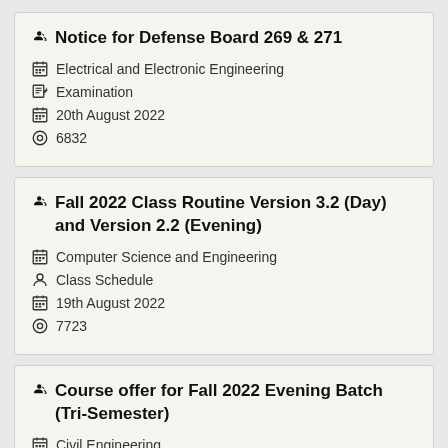Notice for Defense Board 269 & 271
Electrical and Electronic Engineering
Examination
20th August 2022
6832
Fall 2022 Class Routine Version 3.2 (Day) and Version 2.2 (Evening)
Computer Science and Engineering
Class Schedule
19th August 2022
7723
Course offer for Fall 2022 Evening Batch (Tri-Semester)
Civil Engineering